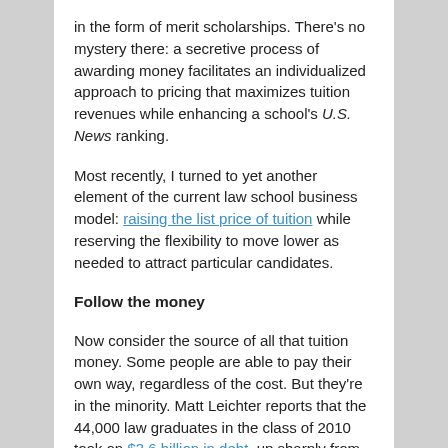in the form of merit scholarships. There's no mystery there: a secretive process of awarding money facilitates an individualized approach to pricing that maximizes tuition revenues while enhancing a school's U.S. News ranking.
Most recently, I turned to yet another element of the current law school business model: raising the list price of tuition while reserving the flexibility to move lower as needed to attract particular candidates.
Follow the money
Now consider the source of all that tuition money. Some people are able to pay their own way, regardless of the cost. But they're in the minority. Matt Leichter reports that the 44,000 law graduates in the class of 2010 took on $3.6 billion in debt, up sharply from $3.1 billion only two years earlier. The number is climbing as tuition goes up.
The chances that recent graduates will secure a job